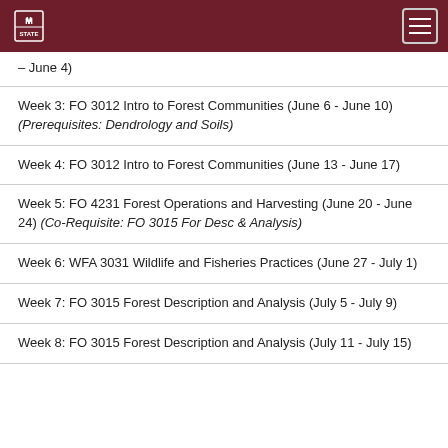Mississippi State University
– June 4)
Week 3: FO 3012 Intro to Forest Communities (June 6 - June 10) (Prerequisites: Dendrology and Soils)
Week 4: FO 3012 Intro to Forest Communities (June 13 - June 17)
Week 5: FO 4231 Forest Operations and Harvesting (June 20 - June 24) (Co-Requisite: FO 3015 For Desc & Analysis)
Week 6: WFA 3031 Wildlife and Fisheries Practices (June 27 - July 1)
Week 7: FO 3015 Forest Description and Analysis (July 5 - July 9)
Week 8: FO 3015 Forest Description and Analysis (July 11 - July 15)